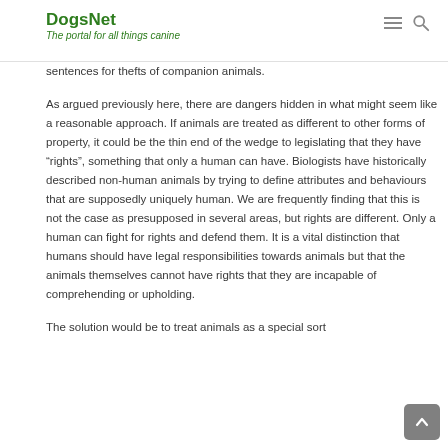DogsNet — The portal for all things canine
sentences for thefts of companion animals.
As argued previously here, there are dangers hidden in what might seem like a reasonable approach. If animals are treated as different to other forms of property, it could be the thin end of the wedge to legislating that they have “rights”, something that only a human can have. Biologists have historically described non-human animals by trying to define attributes and behaviours that are supposedly uniquely human. We are frequently finding that this is not the case as presupposed in several areas, but rights are different. Only a human can fight for rights and defend them. It is a vital distinction that humans should have legal responsibilities towards animals but that the animals themselves cannot have rights that they are incapable of comprehending or upholding.
The solution would be to treat animals as a special sort